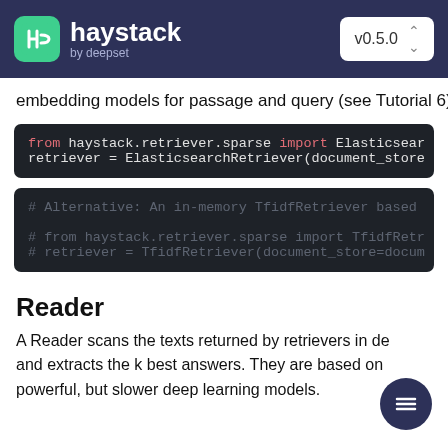haystack by deepset v0.5.0
embedding models for passage and query (see Tutorial 6)
from haystack.retriever.sparse import Elasticsearch
retriever = ElasticsearchRetriever(document_store
# Alternative: An in-memory TfidfRetriever based

# from haystack.retriever.sparse import TfidfRetr
# retriever = TfidfRetriever(document_store=docum
Reader
A Reader scans the texts returned by retrievers in de and extracts the k best answers. They are based on powerful, but slower deep learning models.